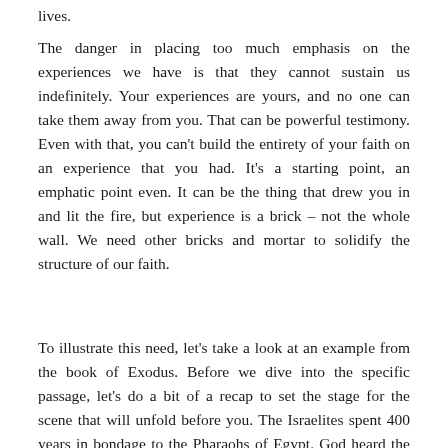lives.
The danger in placing too much emphasis on the experiences we have is that they cannot sustain us indefinitely. Your experiences are yours, and no one can take them away from you. That can be powerful testimony. Even with that, you can't build the entirety of your faith on an experience that you had. It's a starting point, an emphatic point even. It can be the thing that drew you in and lit the fire, but experience is a brick – not the whole wall. We need other bricks and mortar to solidify the structure of our faith.
To illustrate this need, let's take a look at an example from the book of Exodus. Before we dive into the specific passage, let's do a bit of a recap to set the stage for the scene that will unfold before you. The Israelites spent 400 years in bondage to the Pharaohs of Egypt. God heard the cries of the people and remembered the promises that He made to Abraham, Isaac, and Jacob. He called Moses to go back to Egypt and tell Pharaoh to let